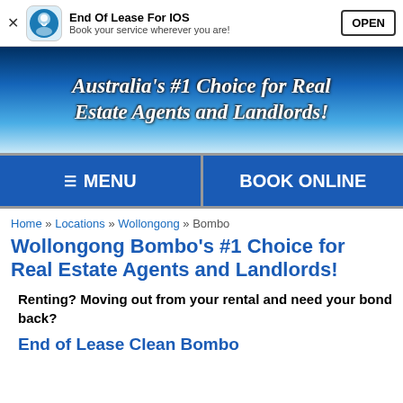[Figure (screenshot): App install banner for 'End Of Lease For IOS' with icon, tagline 'Book your service wherever you are!' and OPEN button]
[Figure (illustration): Blue gradient hero banner with text: Australia's #1 Choice for Real Estate Agents and Landlords!]
[Figure (screenshot): Navigation buttons: MENU and BOOK ONLINE on blue background]
Home » Locations » Wollongong » Bombo
Wollongong Bombo's #1 Choice for Real Estate Agents and Landlords!
Renting? Moving out from your rental and need your bond back?
End of Lease Clean Bombo